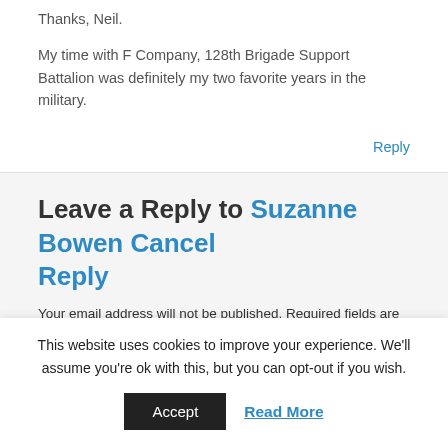Thanks, Neil.
My time with F Company, 128th Brigade Support Battalion was definitely my two favorite years in the military.
Reply
Leave a Reply to Suzanne Bowen Cancel Reply
Your email address will not be published. Required fields are marked *
This website uses cookies to improve your experience. We'll assume you're ok with this, but you can opt-out if you wish.
Accept
Read More